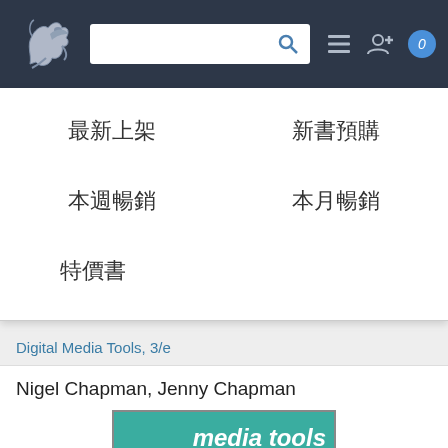[Figure (screenshot): Navigation bar with dragon logo, search box, list icon, add user icon, and badge showing 0]
最新上架
新書預購
本週暢銷
本月暢銷
特價書
Digital Media Tools, 3/e
Nigel Chapman, Jenny Chapman
[Figure (photo): Book cover for Digital Media Tools showing teal background with italic white 'media tools' text and dark red 'digital' text vertically]